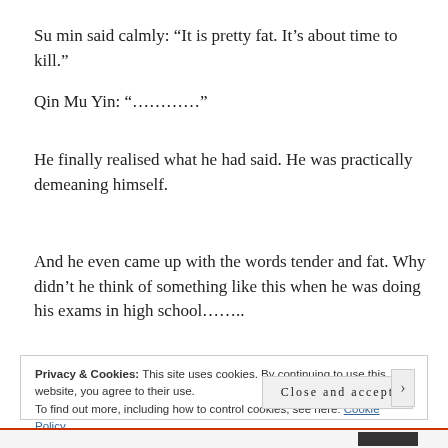Su min said calmly: “It is pretty fat. It’s about time to kill.”
Qin Mu Yin: “……………”
He finally realised what he had said. He was practically demeaning himself.
And he even came up with the words tender and fat. Why didn’t he think of something like this when he was doing his exams in high school……..
Privacy & Cookies: This site uses cookies. By continuing to use this website, you agree to their use.
To find out more, including how to control cookies, see here: Cookie Policy
Close and accept